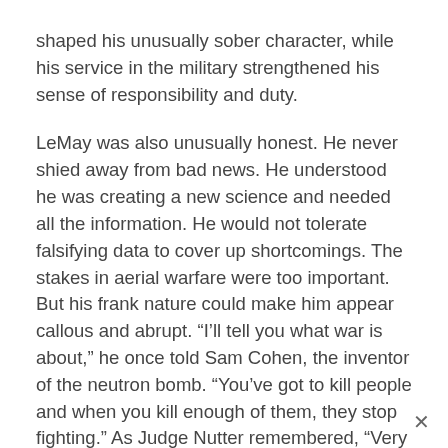shaped his unusually sober character, while his service in the military strengthened his sense of responsibility and duty.
LeMay was also unusually honest. He never shied away from bad news. He understood he was creating a new science and needed all the information. He would not tolerate falsifying data to cover up shortcomings. The stakes in aerial warfare were too important. But his frank nature could make him appear callous and abrupt. “I’ll tell you what war is about,” he once told Sam Cohen, the inventor of the neutron bomb. “You’ve got to kill people and when you kill enough of them, they stop fighting.” As Judge Nutter remembered, “Very few people can really tell the truth and most people really don’t want to hear it; he did. So did Sherman. People don’t want to hear that kind